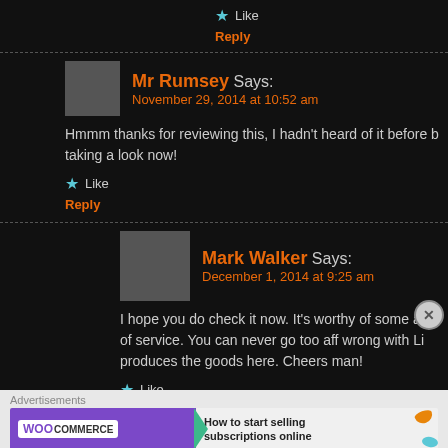★ Like
Reply
Mr Rumsey Says: November 29, 2014 at 10:52 am
Hmmm thanks for reviewing this, I hadn't heard of it before but I'm taking a look now!
★ Like
Reply
Mark Walker Says: December 1, 2014 at 9:25 am
I hope you do check it now. It's worthy of some attention in terms of service. You can never go too aff wrong with Li... produces the goods here. Cheers man!
★ Like
Reply
[Figure (other): WooCommerce advertisement banner: 'How to start selling subscriptions online']